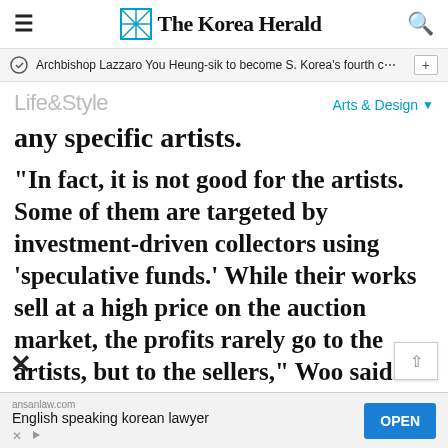The Korea Herald
Archbishop Lazzaro You Heung-sik to become S. Korea's fourth c…
Life&Style   Arts & Design
any specific artists.
“In fact, it is not good for the artists. Some of them are targeted by investment-driven collectors using ‘speculative funds.’ While their works sell at a high price on the auction market, the profits rarely go to the artists, but to the sellers,” Woo said.
[Figure (screenshot): Advertisement banner: ansanlaw.com - English speaking korean lawyer, with OPEN button]